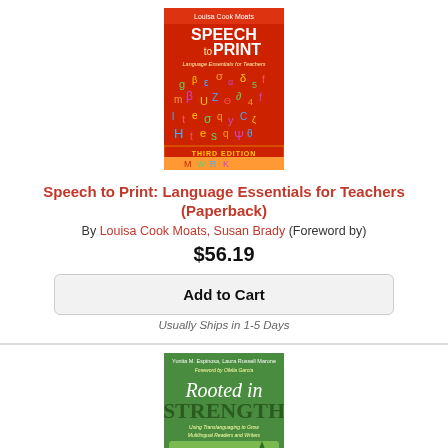[Figure (illustration): Book cover for 'Speech to Print: Language Essentials for Teachers, Third Edition' by Louisa Cook Moats. Red cover with colorful scattered alphabet letters.]
Speech to Print: Language Essentials for Teachers (Paperback)
By Louisa Cook Moats, Susan Brady (Foreword by)
$56.19
Add to Cart
Usually Ships in 1-5 Days
[Figure (illustration): Book cover for 'Rooted in Strength: Using Translanguaging to Grow Multilingual Readers and Writers' — green cover with children and title text.]